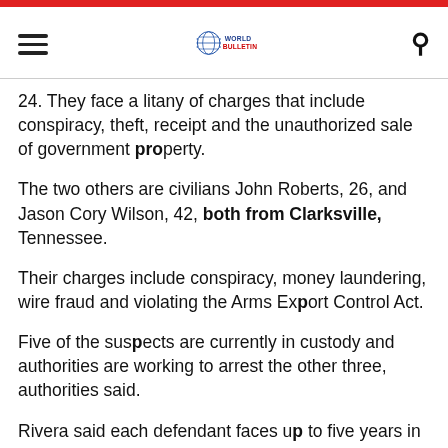World Bulletin
24. They face a litany of charges that include conspiracy, theft, receipt and the unauthorized sale of government property.
The two others are civilians John Roberts, 26, and Jason Cory Wilson, 42, both from Clarksville, Tennessee.
Their charges include conspiracy, money laundering, wire fraud and violating the Arms Export Control Act.
Five of the suspects are currently in custody and authorities are working to arrest the other three, authorities said.
Rivera said each defendant faces up to five years in prison and a fine of up to $250,000.
Roberts and Wilson face up to 30 years for each...